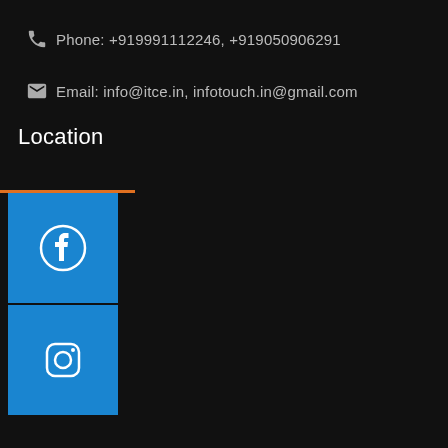Phone: +919991112246, +919050906291
Email: info@itce.in, infotouch.in@gmail.com
Location
[Figure (logo): Facebook icon button - blue square with white Facebook 'f' circle logo]
[Figure (logo): Instagram icon button - blue square with white Instagram camera logo]